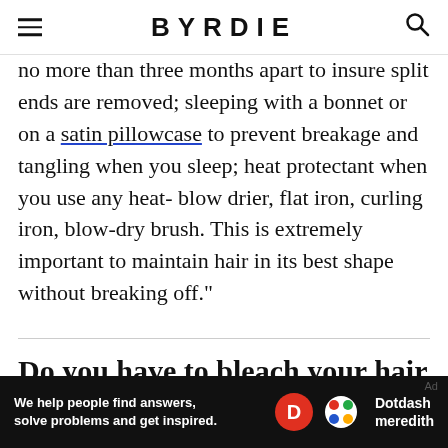BYRDIE
no more than three months apart to insure split ends are removed; sleeping with a bonnet or on a satin pillowcase to prevent breakage and tangling when you sleep; heat protectant when you use any heat- blow drier, flat iron, curling iron, blow-dry brush. This is extremely important to maintain hair in its best shape without breaking off."
Do you have to bleach your hair to get white blonde color?
[Figure (other): Dotdash Meredith advertisement bar at bottom of page with text: We help people find answers, solve problems and get inspired.]